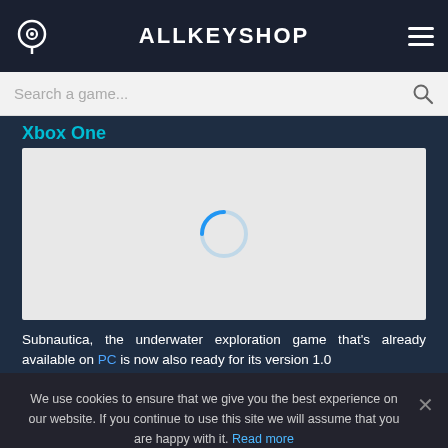ALLKEYSHOP
Search a game...
Xbox One
[Figure (screenshot): Video loading placeholder with circular spinner on grey background]
Subnautica, the underwater exploration game that's already available on PC is now also ready for its version 1.0
We use cookies to ensure that we give you the best experience on our website. If you continue to use this site we will assume that you are happy with it. Read more
Ok
No
Help